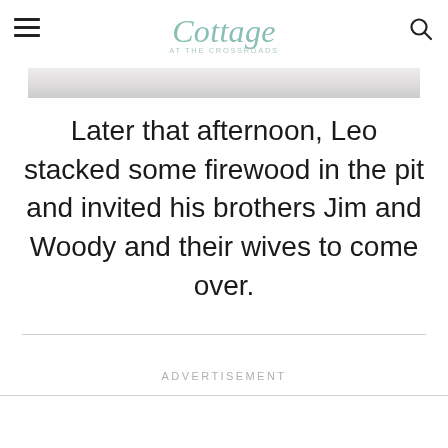Cottage at the Crossroads
[Figure (photo): Partial view of a photo showing light-colored marble or stone surface, cropped at top]
Later that afternoon, Leo stacked some firewood in the pit and invited his brothers Jim and Woody and their wives to come over.
ADVERTISEMENT